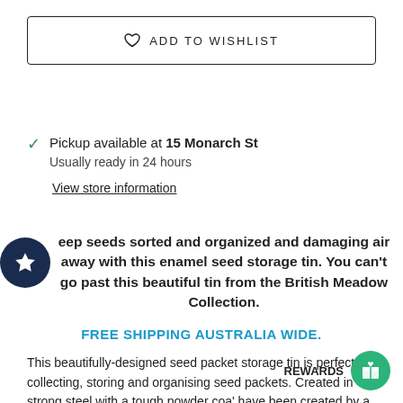♡ ADD TO WISHLIST
Pickup available at 15 Monarch St
Usually ready in 24 hours
View store information
Keep seeds sorted and organized and damaging air away with this enamel seed storage tin. You can't go past this beautiful tin from the British Meadow Collection.
FREE SHIPPING AUSTRALIA WIDE.
This beautifully-designed seed packet storage tin is perfect for collecting, storing and organising seed packets. Created in strong steel with a tough powder coa' have been created by a unique mou flawless, seam-free finish, and the result is irresistibly tactile.